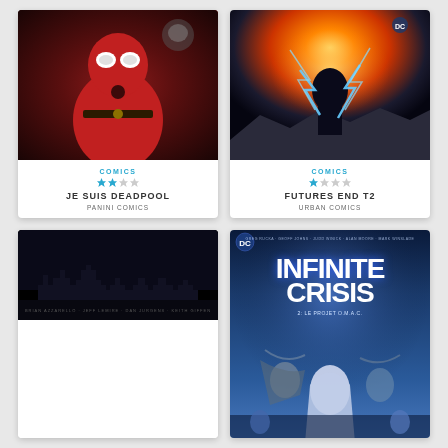[Figure (illustration): Deadpool comic book cover - Je Suis Deadpool by Panini Comics, showing Deadpool in red suit with weapons]
COMICS
JE SUIS DEADPOOL
PANINI COMICS
[Figure (illustration): Black Lightning / Futures End T2 comic book cover by Urban Comics, showing hero with lightning bolts]
COMICS
FUTURES END T2
URBAN COMICS
[Figure (illustration): Dark Batman comic book cover with city skyline silhouette, partially visible]
[Figure (illustration): Infinite Crisis comic book cover showing heroes with blue tones - 2: Le Projet O.M.A.C.]